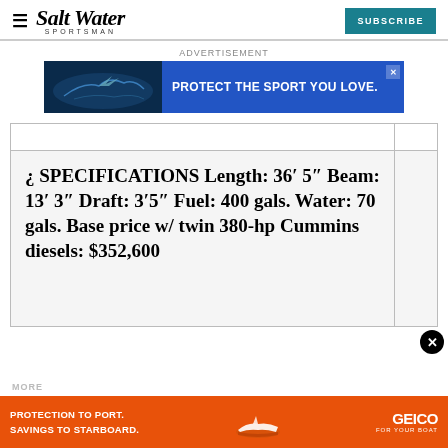Salt Water Sportsman
ADVERTISEMENT
[Figure (infographic): Advertisement banner: marlins/ocean image on left, blue background with text 'PROTECT THE SPORT YOU LOVE.' on right]
| ¿ SPECIFICATIONS Length: 36′ 5″ Beam: 13′ 3″ Draft: 3′5″ Fuel: 400 gals. Water: 70 gals. Base price w/ twin 380-hp Cummins diesels: $352,600 |
MORE
[Figure (infographic): GEICO boat insurance advertisement: orange background, text 'PROTECTION TO PORT. SAVINGS TO STARBOARD.' with GEICO logo and boat illustration]